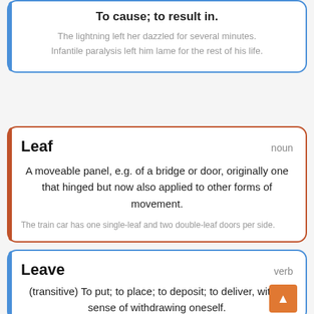To cause; to result in.
The lightning left her dazzled for several minutes. Infantile paralysis left him lame for the rest of his life.
Leaf
noun
A moveable panel, e.g. of a bridge or door, originally one that hinged but now also applied to other forms of movement.
The train car has one single-leaf and two double-leaf doors per side.
Leave
verb
(transitive) To put; to place; to deposit; to deliver, with a sense of withdrawing oneself.